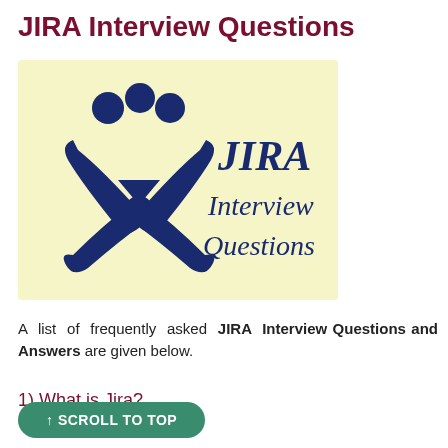JIRA Interview Questions
[Figure (logo): JIRA Interview Questions logo: a cream/yellow background with a dark blue stylized figure icon (two people with arms raised forming an X shape) on the left, and the text 'JIRA Interview Questions' in dark blue on the right.]
A list of frequently asked JIRA Interview Questions and Answers are given below.
1) What is Jira?